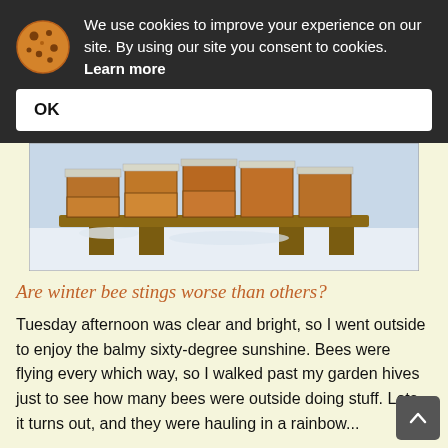We use cookies to improve your experience on our site. By using our site you consent to cookies. Learn more
OK
[Figure (photo): Photograph of wooden beehive boxes arranged on a platform in a snowy outdoor setting, partially visible (top portion of image).]
Are winter bee stings worse than others?
Tuesday afternoon was clear and bright, so I went outside to enjoy the balmy sixty-degree sunshine. Bees were flying every which way, so I walked past my garden hives just to see how many bees were outside doing stuff. Lots, it turns out, and they were hauling in a rainbow...
In "stings"
#allergy  #bee stings  #neighbors